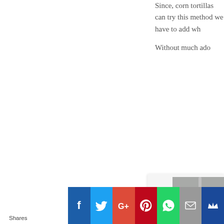Since, corn tortillas can try this method we have to add wh... Without much ado...
[Figure (photo): A white ramekin filled with a food dish (appears to be a casserole or egg-based dish with green herbs), with a spoon visible at the top. Photo shown partially cropped.]